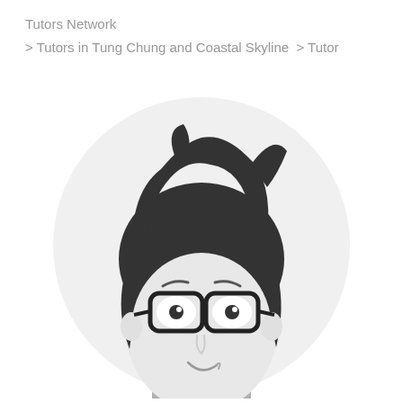Tutors Network
> Tutors in Tung Chung and Coastal Skyline  > Tutor
[Figure (illustration): Cartoon illustration of a male tutor avatar with dark messy hair, glasses, and a slight smirk, shown from the shoulders up against a light gray circular background.]